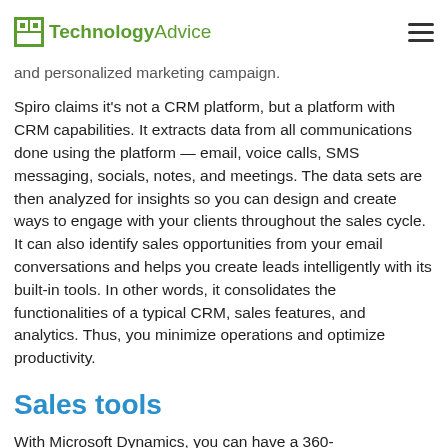TechnologyAdvice
and personalized marketing campaign.
Spiro claims it's not a CRM platform, but a platform with CRM capabilities. It extracts data from all communications done using the platform — email, voice calls, SMS messaging, socials, notes, and meetings. The data sets are then analyzed for insights so you can design and create ways to engage with your clients throughout the sales cycle. It can also identify sales opportunities from your email conversations and helps you create leads intelligently with its built-in tools. In other words, it consolidates the functionalities of a typical CRM, sales features, and analytics. Thus, you minimize operations and optimize productivity.
Sales tools
With Microsoft Dynamics, you can have a 360-